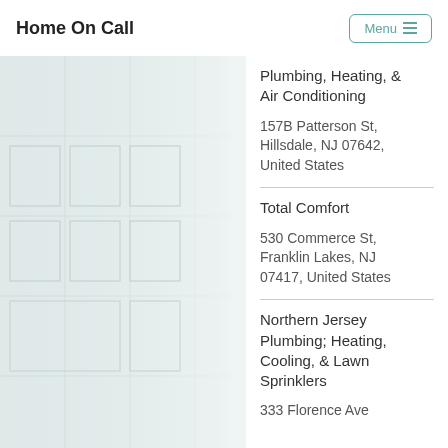Home On Call
Plumbing, Heating, & Air Conditioning
157B Patterson St, Hillsdale, NJ 07642, United States
Total Comfort
530 Commerce St, Franklin Lakes, NJ 07417, United States
Northern Jersey Plumbing; Heating, Cooling, & Lawn Sprinklers
333 Florence Ave